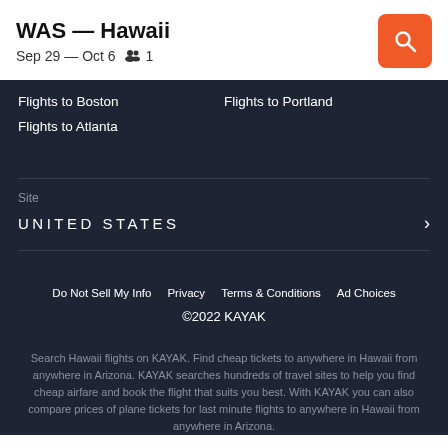WAS — Hawaii
Sep 29 — Oct 6   👥 1
Flights to Boston
Flights to Portland
Flights to Atlanta
Site
UNITED STATES
Do Not Sell My Info   Privacy   Terms & Conditions   Ad Choices
©2022 KAYAK
Search Hawaii flights on KAYAK. Find cheap tickets to anywhere in Hawaii from anywhere in Arizona. KAYAK searches hundreds of travel sites to help you find cheap airfare and book the flight that suits you best. With KAYAK you can also compare prices of plane tickets for last minute flights to anywhere in Hawaii from anywhere in Arizona.